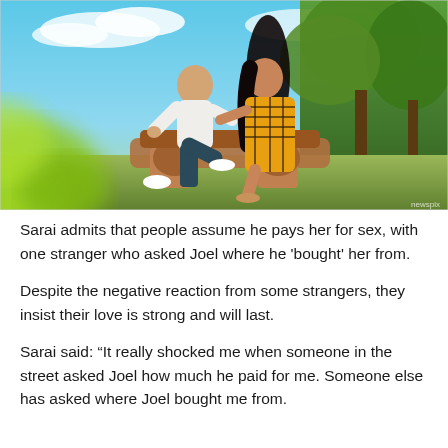[Figure (photo): A couple sitting together outdoors on old machinery. The man is bald, wearing a white shirt and dark trousers. The woman has long dark hair and wears a yellow patterned dress. They are smiling at each other. Background shows blue sky and green trees. Blurred green leaves in the foreground bottom-left.]
Sarai admits that people assume he pays her for sex, with one stranger who asked Joel where he 'bought' her from.
Despite the negative reaction from some strangers, they insist their love is strong and will last.
Sarai said: “It really shocked me when someone in the street asked Joel how much he paid for me. Someone else has asked where Joel bought me from.